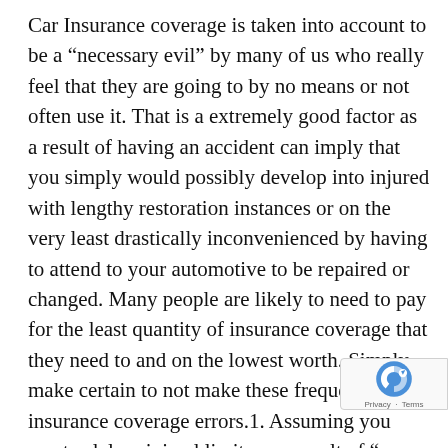Car Insurance coverage is taken into account to be a “necessary evil” by many of us who really feel that they are going to by no means or not often use it. That is a extremely good factor as a result of having an accident can imply that you simply would possibly develop into injured with lengthy restoration instances or on the very least drastically inconvenienced by having to attend to your automotive to be repaired or changed. Many people are likely to need to pay for the least quantity of insurance coverage that they need to and on the lowest worth. Simply make certain to not make these frequent auto insurance coverage errors.1. Assuming you want solely minimal limits as a result of “you don’t own anything.” Latest graduates beginning their careers could not presently have a whole lot of property to guard however they do have a lifetime of future wages. Judgments for damages prompted to others can observe you and trigger your wages to be garnished to fulfill them. The price of greater limits